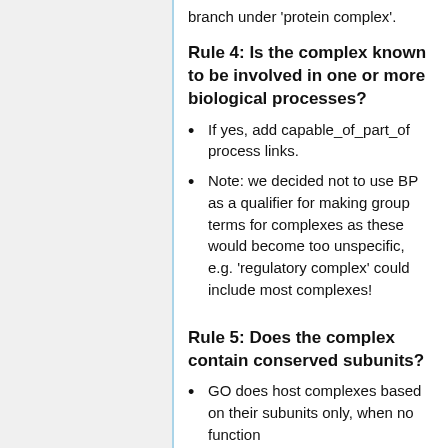branch under 'protein complex'.
Rule 4: Is the complex known to be involved in one or more biological processes?
If yes, add capable_of_part_of process links.
Note: we decided not to use BP as a qualifier for making group terms for complexes as these would become too unspecific, e.g. 'regulatory complex' could include most complexes!
Rule 5: Does the complex contain conserved subunits?
GO does host complexes based on their subunits only, when no function